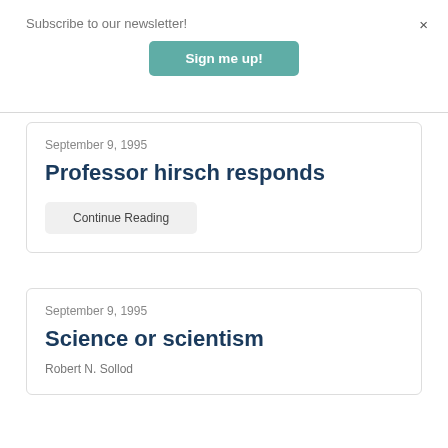Subscribe to our newsletter!
Sign me up!
×
September 9, 1995
Professor hirsch responds
Continue Reading
September 9, 1995
Science or scientism
Robert N. Sollod